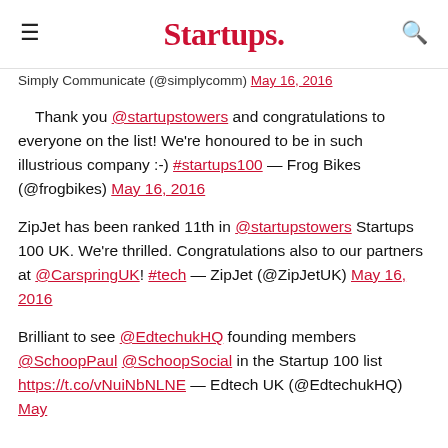Startups.
Simply Communicate (@simplycomm) May 16, 2016
Thank you @startupstowers and congratulations to everyone on the list! We're honoured to be in such illustrious company :-) #startups100 — Frog Bikes (@frogbikes) May 16, 2016
ZipJet has been ranked 11th in @startupstowers Startups 100 UK. We're thrilled. Congratulations also to our partners at @CarspringUK! #tech — ZipJet (@ZipJetUK) May 16, 2016
Brilliant to see @EdtechukHQ founding members @SchoopPaul @SchoopSocial in the Startup 100 list https://t.co/vNuiNbNLNE — Edtech UK (@EdtechukHQ) May